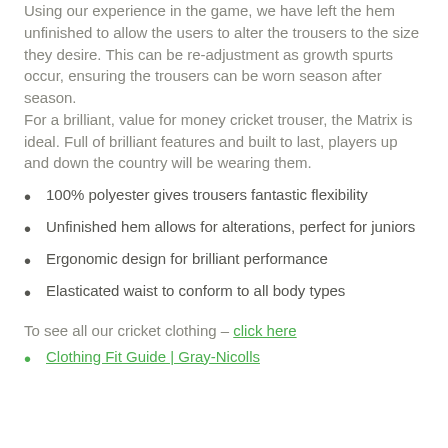Using our experience in the game, we have left the hem unfinished to allow the users to alter the trousers to the size they desire. This can be re-adjustment as growth spurts occur, ensuring the trousers can be worn season after season. For a brilliant, value for money cricket trouser, the Matrix is ideal. Full of brilliant features and built to last, players up and down the country will be wearing them.
100% polyester gives trousers fantastic flexibility
Unfinished hem allows for alterations, perfect for juniors
Ergonomic design for brilliant performance
Elasticated waist to conform to all body types
To see all our cricket clothing – click here
Clothing Fit Guide | Gray-Nicolls